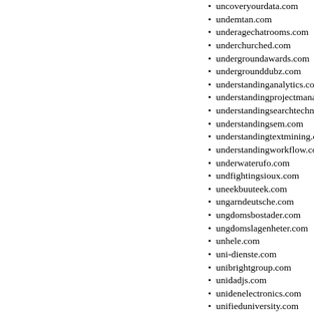uncoveryourdata.com
undemtan.com
underagechatrooms.com
underchurched.com
undergroundawards.com
undergrounddubz.com
understandinganalytics.com
understandingprojectmanage…
understandingsearchtechnolo…
understandingsem.com
understandingtextmining.com
understandingworkflow.com
underwaterufo.com
undfightingsioux.com
uneekbuuteek.com
ungarndeutsche.com
ungdomsbostader.com
ungdomslagenheter.com
unhele.com
uni-dienste.com
unibrightgroup.com
unidadjs.com
unidenelectronics.com
unifieduniversity.com
uniformworx.com
unigral.com
unimatlathe.com
union-county-news.com